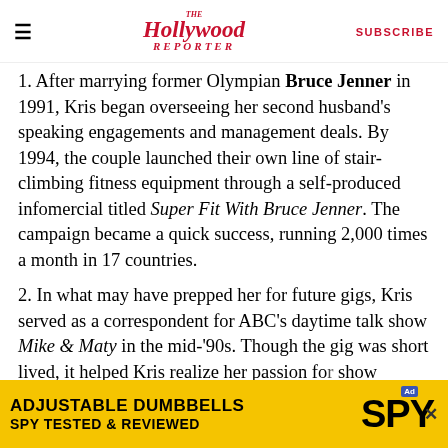The Hollywood Reporter | SUBSCRIBE
1. After marrying former Olympian Bruce Jenner in 1991, Kris began overseeing her second husband's speaking engagements and management deals. By 1994, the couple launched their own line of stair-climbing fitness equipment through a self-produced infomercial titled Super Fit With Bruce Jenner. The campaign became a quick success, running 2,000 times a month in 17 countries.
2. In what may have prepped her for future gigs, Kris served as a correspondent for ABC's daytime talk show Mike & Maty in the mid-'90s. Though the gig was short lived, it helped Kris realize her passion for show business, which she would later combine wit...
[Figure (other): Advertisement banner for Adjustable Dumbbells by SPY. Yellow background with black bold text: 'ADJUSTABLE DUMBBELLS SPY TESTED & REVIEWED' and SPY logo.]